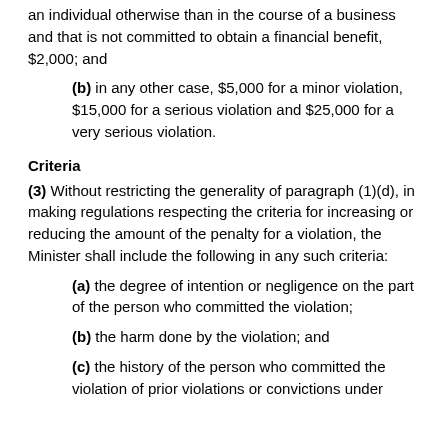an individual otherwise than in the course of a business and that is not committed to obtain a financial benefit, $2,000; and
(b) in any other case, $5,000 for a minor violation, $15,000 for a serious violation and $25,000 for a very serious violation.
Criteria
(3) Without restricting the generality of paragraph (1)(d), in making regulations respecting the criteria for increasing or reducing the amount of the penalty for a violation, the Minister shall include the following in any such criteria:
(a) the degree of intention or negligence on the part of the person who committed the violation;
(b) the harm done by the violation; and
(c) the history of the person who committed the violation of prior violations or convictions under